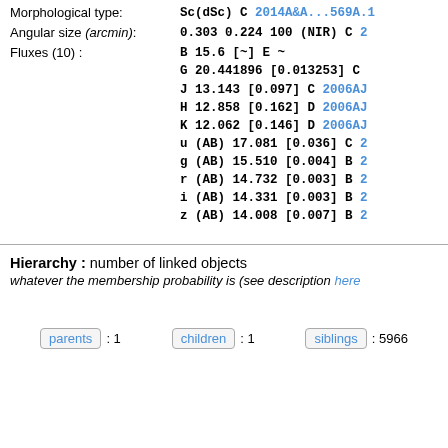Morphological type: Sc(dSc) C 2014A&A...569A.1
Angular size (arcmin): 0.303 0.224 100 (NIR) C 2...
Fluxes (10) : B 15.6 [~] E ~
G 20.441896 [0.013253] C ...
J 13.143 [0.097] C 2006AJ...
H 12.858 [0.162] D 2006AJ...
K 12.062 [0.146] D 2006AJ...
u (AB) 17.081 [0.036] C 2...
g (AB) 15.510 [0.004] B 2...
r (AB) 14.732 [0.003] B 2...
i (AB) 14.331 [0.003] B 2...
z (AB) 14.008 [0.007] B 2...
Hierarchy : number of linked objects
whatever the membership probability is (see description here
parents : 1   children : 1   siblings : 5966